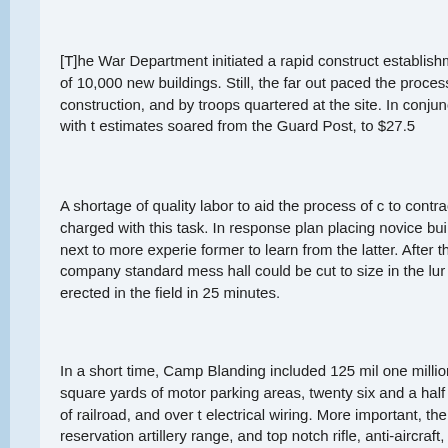[T]he War Department initiated a rapid construction establishment of 10,000 new buildings. Still, the far out paced the process of construction, and by troops quartered at the site. In conjunction with the estimates soared from the Guard Post, to $27.5
A shortage of quality labor to aid the process of construction to contractors charged with this task. In response, a plan placing novice builders next to more experienced former to learn from the latter. After the company, standard mess hall could be cut to size in the lumber yard, erected in the field in 25 minutes.
In a short time, Camp Blanding included 125 miles, one million square yards of motor parking areas, twenty six and a half miles of railroad, and over the electrical wiring. More important, the reservation, artillery range, and top notch rifle, anti-aircraft, mortar to Camp Blanding history)